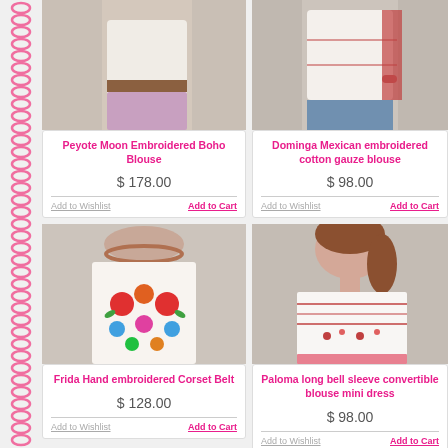[Figure (photo): Product photo of embroidered boho blouse worn by model (top portion cropped)]
Peyote Moon Embroidered Boho Blouse
$ 178.00
Add to Wishlist
Add to Cart
[Figure (photo): Product photo of Dominga Mexican embroidered cotton gauze blouse worn by model (top portion cropped)]
Dominga Mexican embroidered cotton gauze blouse
$ 98.00
Add to Wishlist
Add to Cart
[Figure (photo): Product photo of Frida Hand embroidered Corset Belt with colorful floral embroidery]
Frida Hand embroidered Corset Belt
$ 128.00
Add to Wishlist
Add to Cart
[Figure (photo): Product photo of Paloma long bell sleeve convertible blouse mini dress with red embroidery]
Paloma long bell sleeve convertible blouse mini dress
$ 98.00
Add to Wishlist
Add to Cart